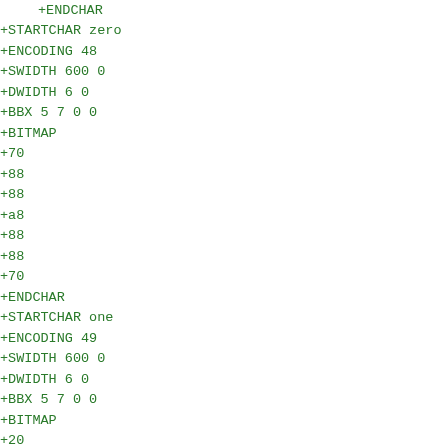+ENDCHAR
+STARTCHAR zero
+ENCODING 48
+SWIDTH 600 0
+DWIDTH 6 0
+BBX 5 7 0 0
+BITMAP
+70
+88
+88
+a8
+88
+88
+70
+ENDCHAR
+STARTCHAR one
+ENCODING 49
+SWIDTH 600 0
+DWIDTH 6 0
+BBX 5 7 0 0
+BITMAP
+20
+60
+a0
+20
+20
+20
+f8
+ENDCHAR
+STARTCHAR two